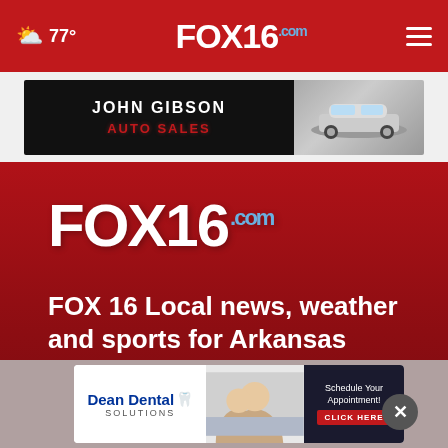77° FOX16.com
[Figure (photo): John Gibson Auto Sales advertisement banner with car image]
[Figure (logo): FOX16.com large logo on dark red background]
FOX 16 Local news, weather and sports for Arkansas
Follow Us
[Figure (logo): Facebook icon circle logo]
[Figure (photo): Dean Dental Solutions advertisement - Schedule Your Appointment! CLICK HERE]